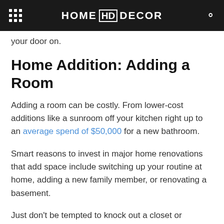HOME HD DECOR
your door on.
Home Addition: Adding a Room
Adding a room can be costly. From lower-cost additions like a sunroom off your kitchen right up to an average spend of $50,000 for a new bathroom.
Smart reasons to invest in major home renovations that add space include switching up your routine at home, adding a new family member, or renovating a basement.
Just don't be tempted to knock out a closet or